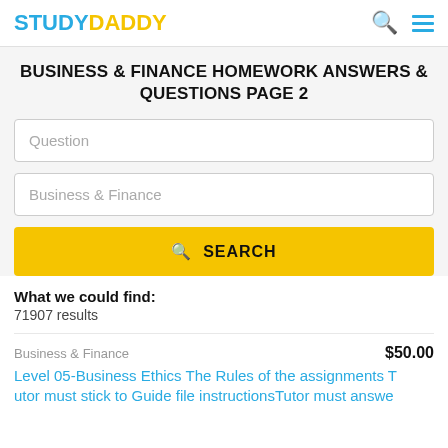STUDYDADDY
BUSINESS & FINANCE HOMEWORK ANSWERS & QUESTIONS PAGE 2
Question
Business & Finance
SEARCH
What we could find:
71907 results
Business & Finance	$50.00
Level 05-Business Ethics The Rules of the assignments Tutor must stick to Guide file instructionsTutor must answe…